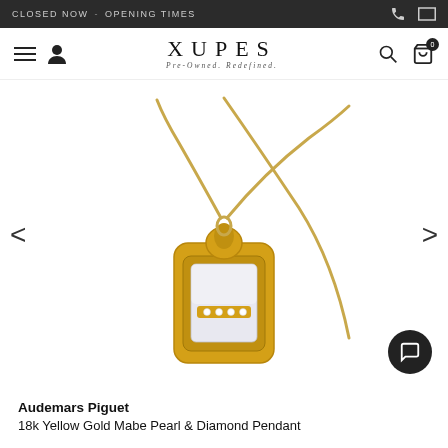CLOSED NOW  -  OPENING TIMES
[Figure (logo): XUPES brand logo with tagline 'Pre-Owned. Redefined.']
[Figure (photo): Audemars Piguet 18k Yellow Gold Mabe Pearl & Diamond Pendant on a gold chain, shown on white background with gold padlock-style pendant featuring mother of pearl and diamonds]
Audemars Piguet
18k Yellow Gold Mabe Pearl & Diamond Pendant